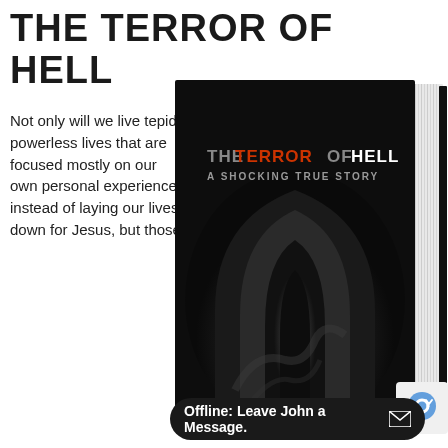THE TERROR OF HELL
Not only will we live tepid, powerless lives that are focused mostly on our own personal experience instead of laying our lives down for Jesus, but those
[Figure (photo): Book cover of 'The Terror of Hell: A Shocking True Story' — a dark/black cover with dramatic smoky arch imagery and the title in white and red/orange text, showing the book in 3D perspective with white pages visible on the right spine.]
Offline: Leave John a Message.